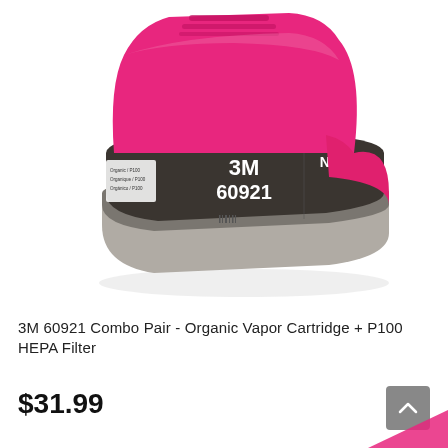[Figure (photo): 3M 60921 respirator cartridge filter in magenta/pink color with gray base. The cartridge shows a black label with white text reading '3M 60921' and 'NIOSH'. The product is photographed at an angle on a white background.]
3M 60921 Combo Pair - Organic Vapor Cartridge + P100 HEPA Filter
$31.99